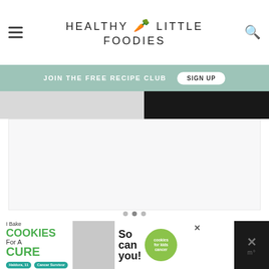HEALTHY LITTLE FOODIES
JOIN THE FREE RECIPE CLUB  SIGN UP
[Figure (screenshot): Partial food/recipe photo strip at top of page content area]
[Figure (photo): Large white/light content area with image carousel dots]
[Figure (infographic): Advertisement banner: I Bake COOKIES For A CURE - Haldora, 11 Cancer Survivor - So can you! - cookies for kids cancer]